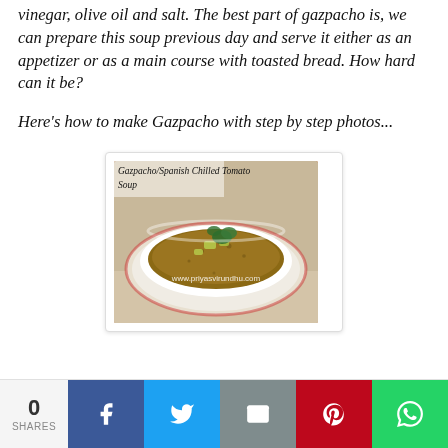vinegar, olive oil and salt. The best part of gazpacho is, we can prepare this soup previous day and serve it either as an appetizer or as a main course with toasted bread. How hard can it be?
Here's how to make Gazpacho with step by step photos...
[Figure (photo): A bowl of Gazpacho/Spanish Chilled Tomato Soup garnished with herbs and cucumber pieces, with watermark www.priyasvirundhu.com]
0 SHARES | Facebook | Twitter | Email | Pinterest | WhatsApp